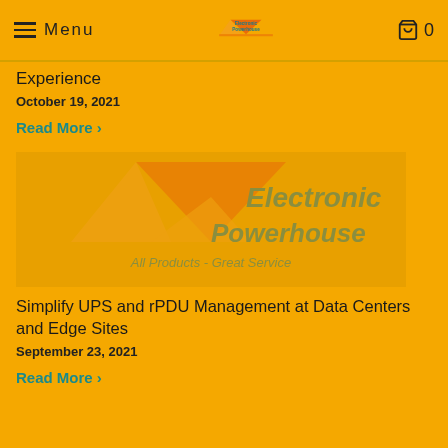Menu | Electronic Powerhouse logo | 0
Experience
October 19, 2021
Read More >
[Figure (logo): Electronic Powerhouse watermark logo on yellow background]
Simplify UPS and rPDU Management at Data Centers and Edge Sites
September 23, 2021
Read More >